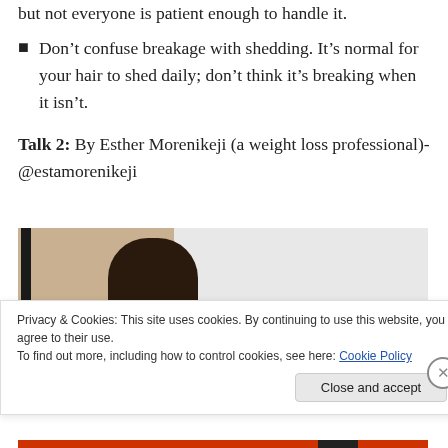Don’t confuse breakage with shedding. It’s normal for your hair to shed daily; don’t think it’s breaking when it isn’t.
Talk 2: By Esther Morenikeji (a weight loss professional)- @estamorenikeji
[Figure (photo): A person seated, visible from the shoulders up, with a vase of flowers visible nearby. The background is a light-colored wall. A dark vertical element (door frame or pole) is on the left side of the image.]
Privacy & Cookies: This site uses cookies. By continuing to use this website, you agree to their use.
To find out more, including how to control cookies, see here: Cookie Policy
Close and accept